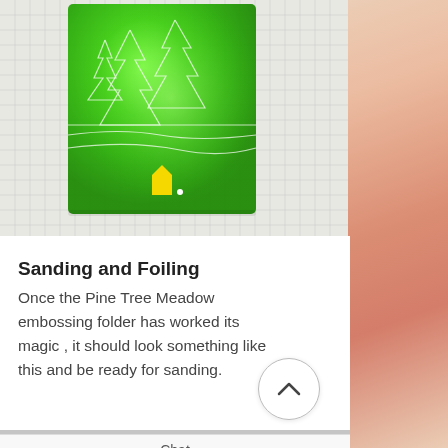[Figure (photo): A green acrylic piece with embossed white tree/pine tree designs on a grid paper background, with a yellow pentagonal tab at the bottom center]
Sanding and Foiling
Once the Pine Tree Meadow embossing folder has worked its magic , it should look something like this and be ready for sanding.
Chat